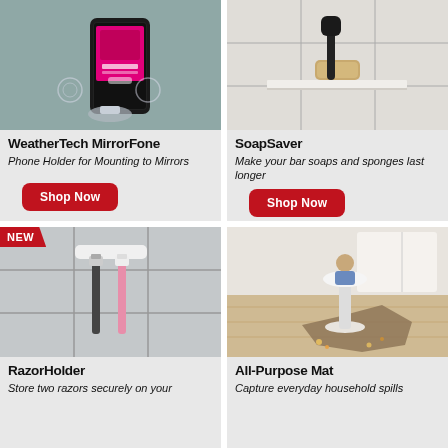[Figure (photo): WeatherTech MirrorFone phone holder mounted to a mirror, holding a smartphone showing music app]
WeatherTech MirrorFone
Phone Holder for Mounting to Mirrors
Shop Now
[Figure (photo): SoapSaver product mounted on a wall tile holder with a bar of soap on a shelf]
SoapSaver
Make your bar soaps and sponges last longer
Shop Now
[Figure (photo): RazorHolder mounted on tile wall holding two razors (black and pink), with NEW badge]
RazorHolder
Store two razors securely on your
[Figure (photo): All-Purpose Mat under a baby high chair on wood floor in kitchen, capturing food spills]
All-Purpose Mat
Capture everyday household spills